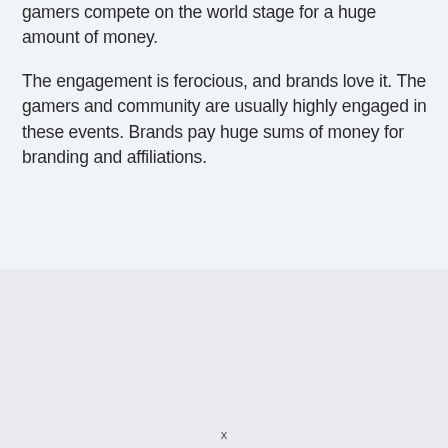gamers compete on the world stage for a huge amount of money.
The engagement is ferocious, and brands love it. The gamers and community are usually highly engaged in these events. Brands pay huge sums of money for branding and affiliations.
x